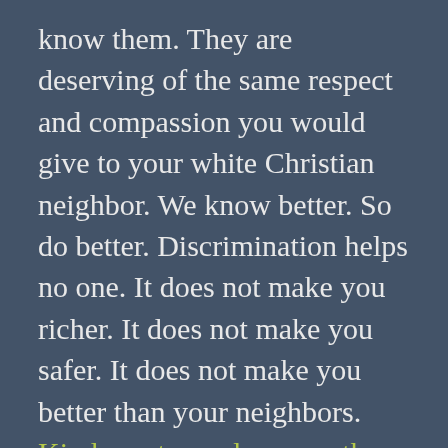know them. They are deserving of the same respect and compassion you would give to your white Christian neighbor. We know better. So do better. Discrimination helps no one. It does not make you richer. It does not make you safer. It does not make you better than your neighbors. Kindness toward one another is how we beat this. It's